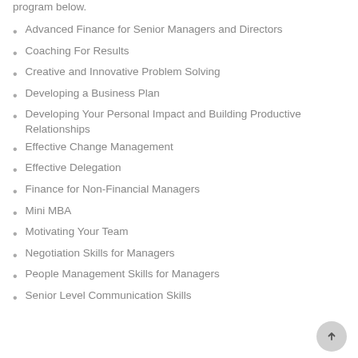program below.
Advanced Finance for Senior Managers and Directors
Coaching For Results
Creative and Innovative Problem Solving
Developing a Business Plan
Developing Your Personal Impact and Building Productive Relationships
Effective Change Management
Effective Delegation
Finance for Non-Financial Managers
Mini MBA
Motivating Your Team
Negotiation Skills for Managers
People Management Skills for Managers
Senior Level Communication Skills